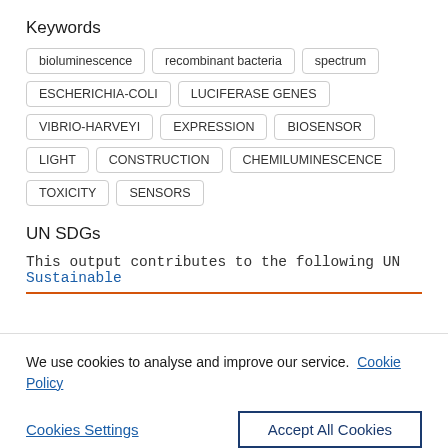Keywords
bioluminescence
recombinant bacteria
spectrum
ESCHERICHIA-COLI
LUCIFERASE GENES
VIBRIO-HARVEYI
EXPRESSION
BIOSENSOR
LIGHT
CONSTRUCTION
CHEMILUMINESCENCE
TOXICITY
SENSORS
UN SDGs
This output contributes to the following UN Sustainable
We use cookies to analyse and improve our service. Cookie Policy
Cookies Settings
Accept All Cookies